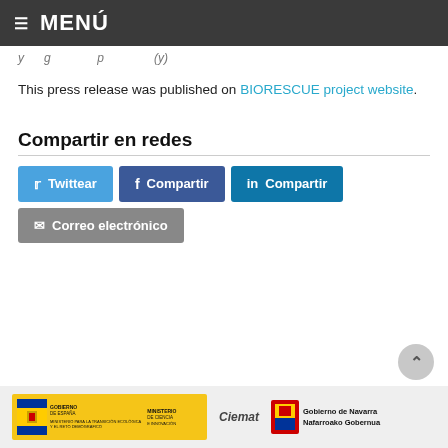≡ MENÚ
y ... g ... p ... (y)
This press release was published on BIORESCUE project website.
Compartir en redes
Twittear
Compartir
Compartir
Correo electrónico
[Figure (logo): Logos: Spanish Government (yellow bar with flag), Ciemat, Gobierno de Navarra / Nafarroako Gobernua]